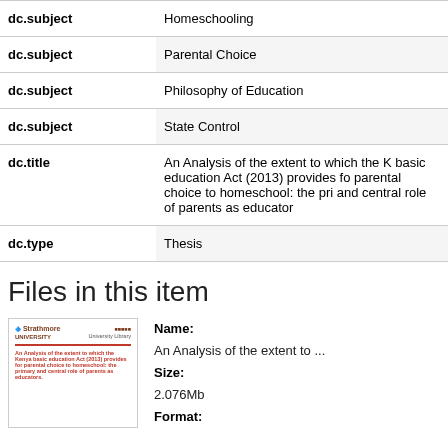| Field | Value |
| --- | --- |
| dc.subject | Homeschooling |
| dc.subject | Parental Choice |
| dc.subject | Philosophy of Education |
| dc.subject | State Control |
| dc.title | An Analysis of the extent to which the Kenya basic education Act (2013) provides for parental choice to homeschool: the primary and central role of parents as educators |
| dc.type | Thesis |
Files in this item
[Figure (screenshot): Thumbnail of the thesis document showing Strathmore University library header and thesis title page]
Name:
An Analysis of the extent to ...
Size:
2.076Mb
Format: